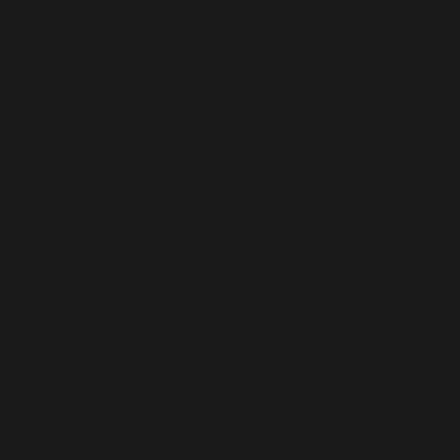minor roadside emergencies, here are some helpful videos: How to change a flat tire:    <iframe width="560" height="315" src="https://www.youtube.com/embed/Tn-Xh5ldkXw" frameborder="0" allow="accelerometer; autoplay; clipboard-write; encrypted-media; gyroscope; picture-in-pic ... read more
Categories:  AUTO BODY
Tags:  MARINA  MONTEREY  PACIFIC GROVE  PEBBLE BEACH  ROBERT'S  ROBERT'S AUTO REPAIR  SEASIDE  AUTO BODY SHOP  DEL REY OAKS  SAND CITY  CARMEL VALLEY  SALINAS  AUTO BODY REPAIR  GREEN-CERTIFIED  CARMEL  BLOG  FARMER'S  GEICO  INSURANCE  TRIPLE A  MONTEREY PENINSULA  CORRAL DE TIERRA  CASTROVILLE  PRUNEDALE  WATSONVILLE  NORTH MONTEREY COUNTY  MOSS LANDING  DEFENSE LANGUAGE INSTITUTE  DLI  NAVAL POSTGRADUATE SCHOOL  NPS
WHAT IS WATERBORNE PAINT & WHAT'S SO SPECIAL ABOUT IT?
Posted on 10/26/2020
[Figure (photo): Photo of a colorful orange/yellow vintage car being painted or displayed]